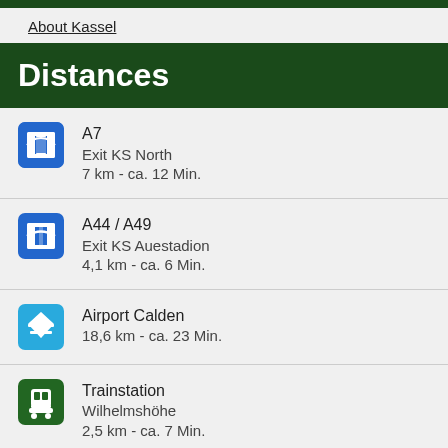About Kassel
Distances
A7
Exit KS North
7 km - ca. 12 Min.
A44 / A49
Exit KS Auestadion
4,1 km - ca. 6 Min.
Airport Calden
18,6 km - ca. 23 Min.
Trainstation Wilhelmshöhe
2,5 km - ca. 7 Min.
Citycenter
0,9 km - ca. 10 Min.